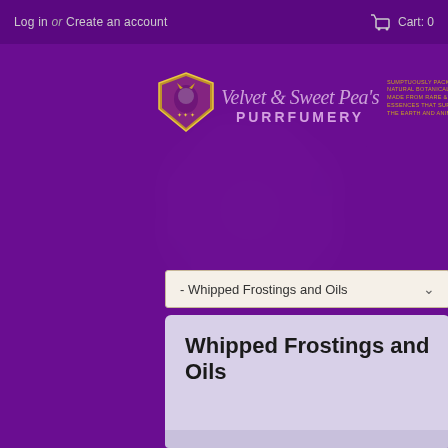Log in or Create an account   Cart: 0
[Figure (logo): Velvet & Sweet Pea's Purrfumery logo with decorative emblem badge on left, cursive script brand name, PURRFUMERY text, and tagline about natural botanical perfumes]
- Whipped Frostings and Oils
Whipped Frostings and Oils